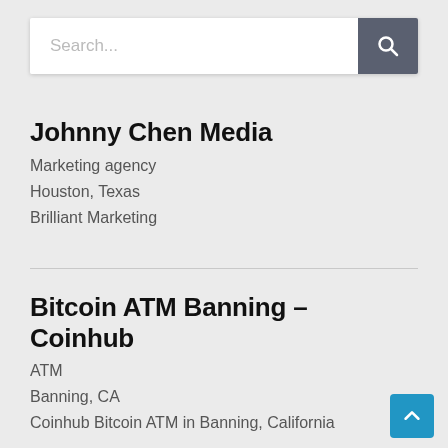[Figure (screenshot): Search bar with placeholder text 'Search...' and a dark search button with magnifying glass icon]
Johnny Chen Media
Marketing agency
Houston, Texas
Brilliant Marketing
Bitcoin ATM Banning – Coinhub
ATM
Banning, CA
Coinhub Bitcoin ATM in Banning, California